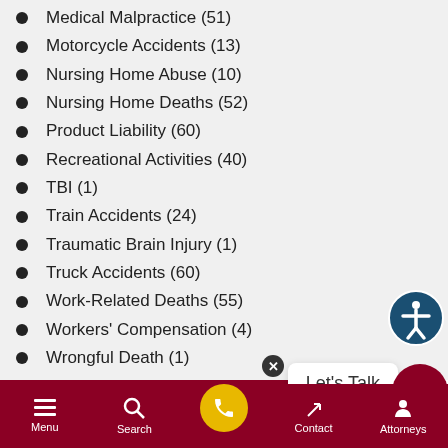Medical Malpractice (51)
Motorcycle Accidents (13)
Nursing Home Abuse (10)
Nursing Home Deaths (52)
Product Liability (60)
Recreational Activities (40)
TBI (1)
Train Accidents (24)
Traumatic Brain Injury (1)
Truck Accidents (60)
Work-Related Deaths (55)
Workers' Compensation (4)
Wrongful Death (1)
Archives
May 2021 (1)
April 2021 (1)
Menu | Search | Contact | Attorneys